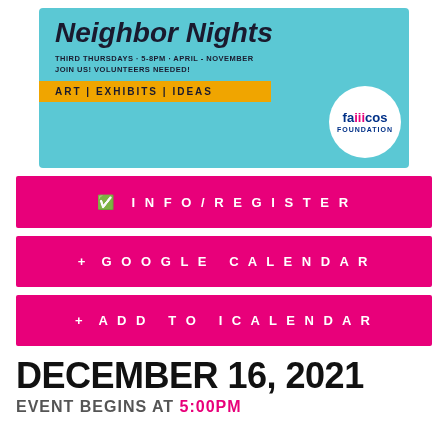[Figure (illustration): Colorful event banner for 'Neighbor Nights' on a teal/blue background. Text reads: THIRD THURSDAYS · 5-8PM · APRIL - NOVEMBER, JOIN US! VOLUNTEERS NEEDED!, ART | EXHIBITS | IDEAS. Famicos Foundation logo in white circle at bottom right.]
INFO/REGISTER
+ GOOGLE CALENDAR
+ ADD TO ICALENDAR
DECEMBER 16, 2021
EVENT BEGINS AT 5:00PM